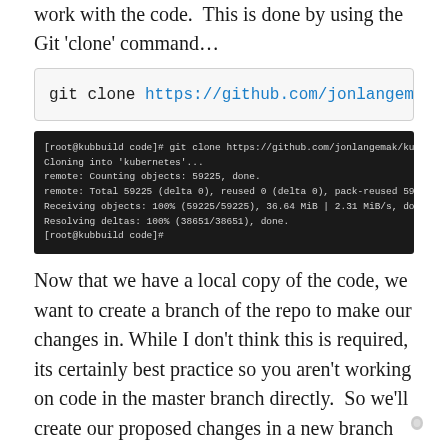work with the code. This is done by using the Git 'clone' command…
git clone https://github.com/jonlangema
[Figure (screenshot): Terminal screenshot showing git clone command output: [root@kubbuild code]# git clone https://github.com/jonlangemak/kubernetes.git
Cloning into 'kubernetes'...
remote: Counting objects: 59225, done.
remote: Total 59225 (delta 0), reused 0 (delta 0), pack-reused 59225
Receiving objects: 100% (59225/59225), 36.64 MiB | 2.31 MiB/s, done.
Resolving deltas: 100% (38651/38651), done.
[root@kubbuild code]#]
Now that we have a local copy of the code, we want to create a branch of the repo to make our changes in. While I don't think this is required, its certainly best practice so you aren't working on code in the master branch directly. So we'll create our proposed changes in a new branch and add our commits (changes) to that. Let's create a branch